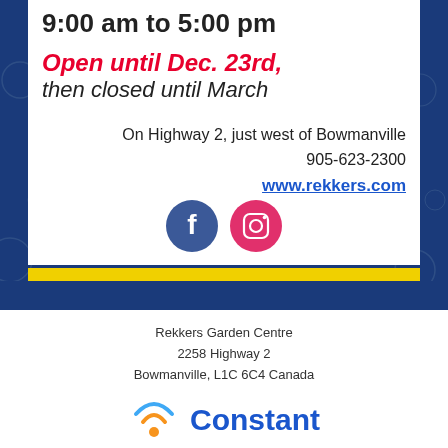9:00 am to 5:00 pm
Open until Dec. 23rd, then closed until March
On Highway 2, just west of Bowmanville 905-623-2300 www.rekkers.com
[Figure (other): Facebook and Instagram social media icon buttons]
Rekkers Garden Centre
2258 Highway 2
Bowmanville, L1C 6C4 Canada

Unsubscribe mailbox@rekkers.com
Update Profile | About Constant Contact
Sent by robin@rekkers.com
in collaboration with
[Figure (logo): Constant Contact logo with orange wifi-style arc icon and blue text reading 'Constant']